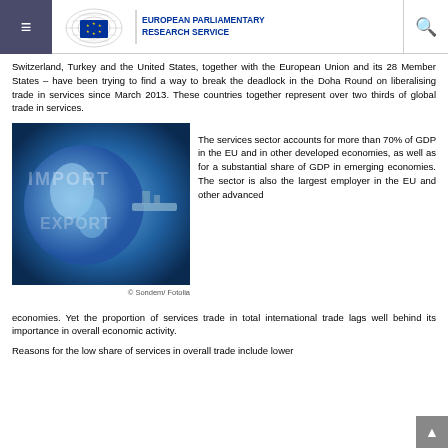European Parliamentary Research Service
Switzerland, Turkey and the United States, together with the European Union and its 28 Member States – have been trying to find a way to break the deadlock in the Doha Round on liberalising trade in services since March 2013. These countries together represent over two thirds of global trade in services.
[Figure (photo): Photo of globe with IMPORT/EXPORT text overlay and cargo ship in blue tones]
© Sondem/ Fotolia
The services sector accounts for more than 70% of GDP in the EU and in other developed economies, as well as for a substantial share of GDP in emerging economies. The sector is also the largest employer in the EU and other advanced economies. Yet the proportion of services trade in total international trade lags well behind its importance in overall economic activity.
Reasons for the low share of services in overall trade include lower